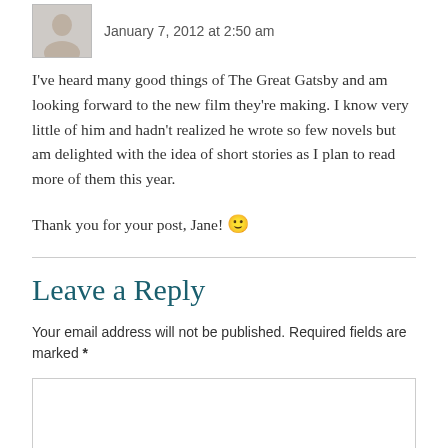January 7, 2012 at 2:50 am
I've heard many good things of The Great Gatsby and am looking forward to the new film they're making. I know very little of him and hadn't realized he wrote so few novels but am delighted with the idea of short stories as I plan to read more of them this year.
Thank you for your post, Jane! 🙂
Leave a Reply
Your email address will not be published. Required fields are marked *